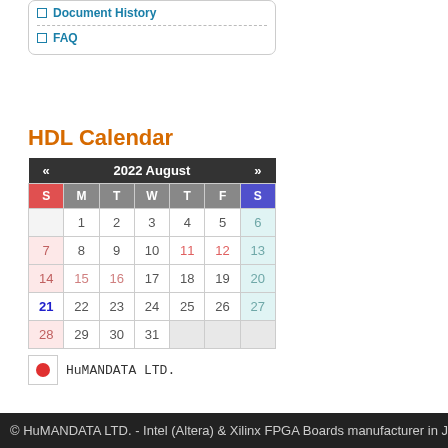Document History
FAQ
HDL Calendar
| « | 2022 August | » |  |  |  |  |
| --- | --- | --- | --- | --- | --- | --- |
| S | M | T | W | T | F | S |
|  | 1 | 2 | 3 | 4 | 5 | 6 |
| 7 | 8 | 9 | 10 | 11 | 12 | 13 |
| 14 | 15 | 16 | 17 | 18 | 19 | 20 |
| 21 | 22 | 23 | 24 | 25 | 26 | 27 |
| 28 | 29 | 30 | 31 |  |  |  |
[Figure (other): HuMANDATA LTD. legend with red dot icon]
© HuMANDATA LTD. - Intel (Altera) & Xilinx FPGA Boards manufacturer in J